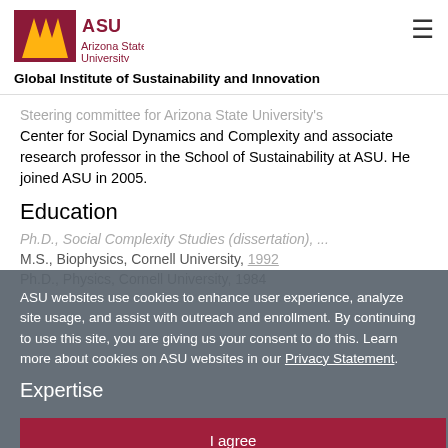[Figure (logo): Arizona State University logo with ASU text in maroon and gold sunburst icon, followed by 'Arizona State University' text]
Global Institute of Sustainability and Innovation
Steering committee for Arizona State University's Center for Social Dynamics and Complexity and associate research professor in the School of Sustainability at ASU. He joined ASU in 2005.
Education
Ph.D., Physics, Cornell University, 1984
Expertise
Partnerships for the Goals
ASU websites use cookies to enhance user experience, analyze site usage, and assist with outreach and enrollment. By continuing to use this site, you are giving us your consent to do this. Learn more about cookies on ASU websites in our Privacy Statement